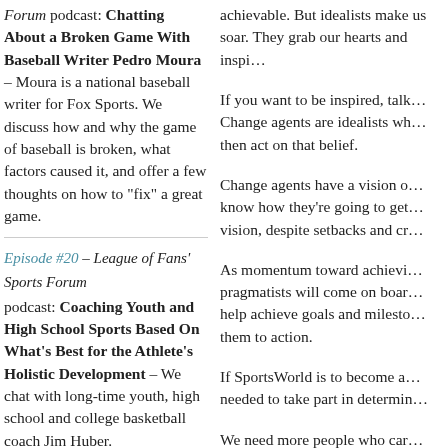Forum podcast: Chatting About a Broken Game With Baseball Writer Pedro Moura – Moura is a national baseball writer for Fox Sports. We discuss how and why the game of baseball is broken, what factors caused it, and offer a few thoughts on how to "fix" a great game.
Episode #20 – League of Fans' Sports Forum podcast: Coaching Youth and High School Sports Based On What's Best for the Athlete's Holistic Development – We chat with long-time youth, high school and college basketball coach Jim Huber.
Episode #19 – League of Fans' Sports Forum podcast: Capturing the Spirit of the All-American Girls
achievable. But idealists make us soar. They grab our hearts and inspi…
If you want to be inspired, talk… Change agents are idealists wh… then act on that belief.
Change agents have a vision o… know how they're going to get… vision, despite setbacks and cr…
As momentum toward achievi… pragmatists will come on boar… help achieve goals and milesto… them to action.
If SportsWorld is to become a… needed to take part in determin…
We need more people who car…